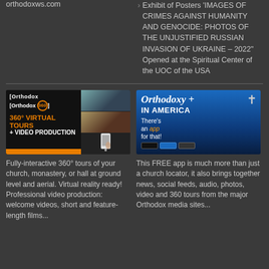orthodoxws.com
> Exhibit of Posters 'IMAGES OF CRIMES AGAINST HUMANITY AND GENOCIDE: PHOTOS OF THE UNJUSTIFIED RUSSIAN INVASION OF UKRAINE – 2022" Opened at the Spiritual Center of the UOC of the USA
[Figure (illustration): Orthodox 360 advertisement banner: 360 Virtual Tours + Video Production]
[Figure (illustration): Orthodoxy in America app advertisement banner]
Fully-interactive 360° tours of your church, monastery, or hall at ground level and aerial. Virtual reality ready! Professional video production: welcome videos, short and feature-length films...
This FREE app is much more than just a church locator, it also brings together news, social feeds, audio, photos, video and 360 tours from the major Orthodox media sites...